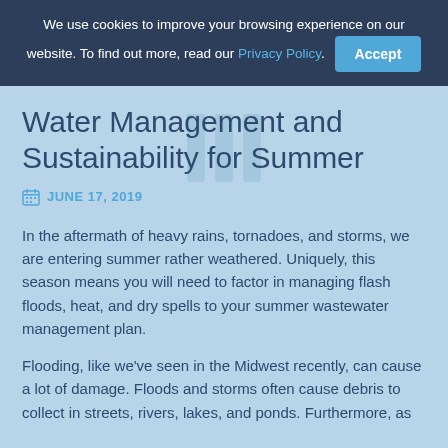We use cookies to improve your browsing experience on our website. To find out more, read our Privacy Policy. Accept
Water Management and Sustainability for Summer
JUNE 17, 2019
In the aftermath of heavy rains, tornadoes, and storms, we are entering summer rather weathered. Uniquely, this season means you will need to factor in managing flash floods, heat, and dry spells to your summer wastewater management plan.
Flooding, like we've seen in the Midwest recently, can cause a lot of damage. Floods and storms often cause debris to collect in streets, rivers, lakes, and ponds. Furthermore, as